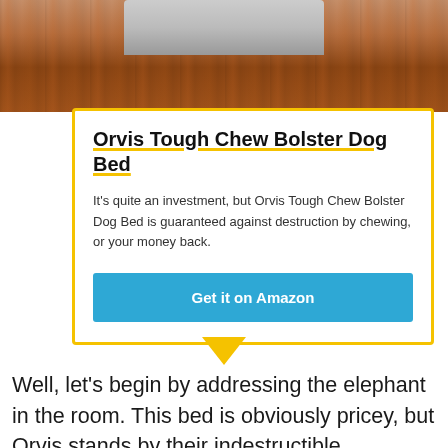[Figure (photo): Top portion of a dog bed on a wooden floor surface, partially cropped]
Orvis Tough Chew Bolster Dog Bed
It's quite an investment, but Orvis Tough Chew Bolster Dog Bed is guaranteed against destruction by chewing, or your money back.
Get it on Amazon
Well, let's begin by addressing the elephant in the room. This bed is obviously pricey, but Orvis stands by their indestructible